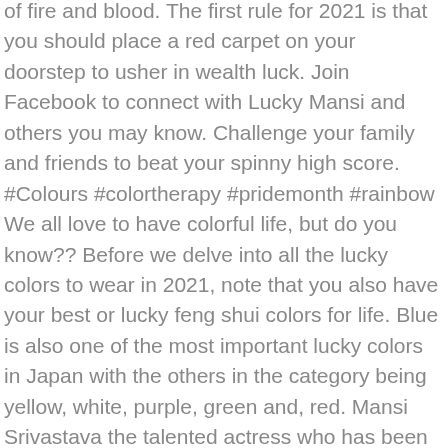of fire and blood. The first rule for 2021 is that you should place a red carpet on your doorstep to usher in wealth luck. Join Facebook to connect with Lucky Mansi and others you may know. Challenge your family and friends to beat your spinny high score. #Colours #colortherapy #pridemonth #rainbow We all love to have colorful life, but do you know?? Before we delve into all the lucky colors to wear in 2021, note that you also have your best or lucky feng shui colors for life. Blue is also one of the most important lucky colors in Japan with the others in the category being yellow, white, purple, green and, red. Mansi Srivastava the talented actress who has been part of TV shows like Suvreen Guggal, Do Dil Bandhe Ek Dori Se, Sasural Simar Ka, Ishqbaaaz is gearing up to play the antagonist in Ishq Mein Marjawan the popular Colors show produced by Yash and Mamta Patnaik's Beyond Dreams. Lucky Violet Color Co. From $150.00 Rose Garden Palette "A" Lucky Violet Color Co. From $150.00 Skies Palette. Today's lucky color, locky colours by zodiac sign, today's advice, general luck, love luck, work luck, money